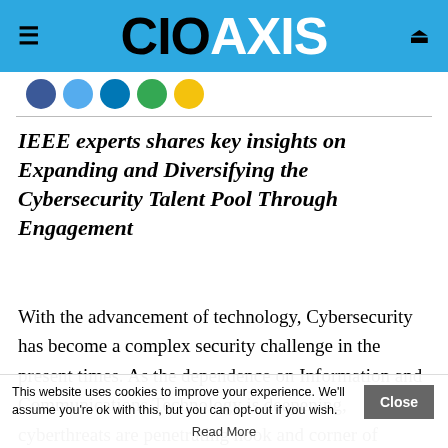CIO AXIS
[Figure (illustration): Row of social media circle icons: blue Facebook, blue Twitter, teal LinkedIn, green, yellow]
IEEE experts shares key insights on Expanding and Diversifying the Cybersecurity Talent Pool Through Engagement
With the advancement of technology, Cybersecurity has become a complex security challenge in the present times. As the dependence on Information and Communications Technology is deepening, cyberthreats are penetrating nook and corner of various businesses targeting
This website uses cookies to improve your experience. We'll assume you're ok with this, but you can opt-out if you wish. Read More Close